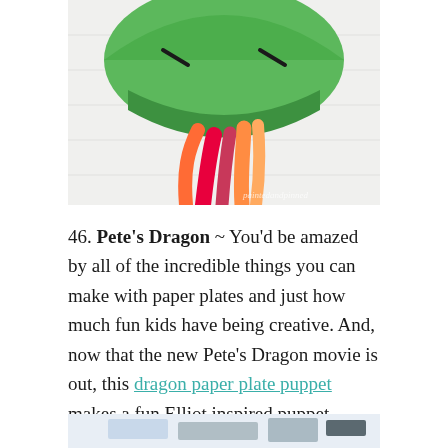[Figure (photo): A green paper plate dragon puppet with orange and red paper streamers as fire/tongue, hung against a white wooden background. Watermark reads 'paintedandpinned' in bottom right corner.]
46. Pete's Dragon ~ You'd be amazed by all of the incredible things you can make with paper plates and just how much fun kids have being creative. And, now that the new Pete's Dragon movie is out, this dragon paper plate puppet makes a fun Elliot inspired puppet.
[Figure (photo): Partial view of craft supplies on a surface, bottom of page cropped.]